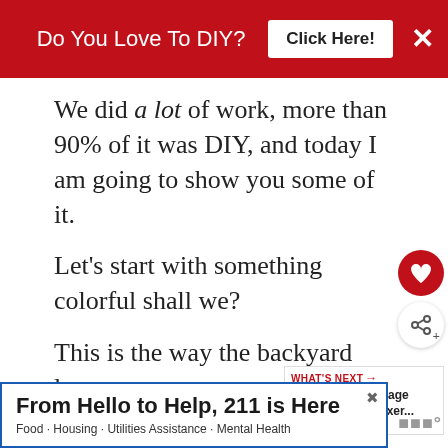Do You Love To DIY? Click Here!
We did a lot of work, more than 90% of it was DIY, and today I am going to show you some of it.
Let's start with something colorful shall we?
This is the way the backyard looked before the pool and garden went in.
[Figure (infographic): What's Next widget with thumbnail image and text: My Cottage Style Fixer...]
[Figure (infographic): Advertisement banner: From Hello to Help, 211 is Here. Food · Housing · Utilities Assistance · Mental Health]